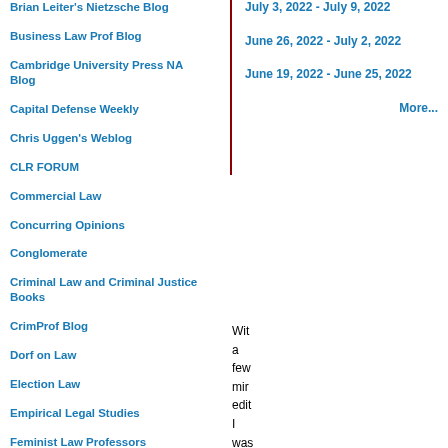Brian Leiter's Nietzsche Blog
Business Law Prof Blog
Cambridge University Press NA Blog
Capital Defense Weekly
Chris Uggen's Weblog
CLR FORUM
Commercial Law
Concurring Opinions
Conglomerate
Criminal Law and Criminal Justice Books
CrimProf Blog
Dorf on Law
Election Law
Empirical Legal Studies
Feminist Law Professors
First Amendment Law Prof
Gender & Sexuality Law Blog
July 3, 2022 - July 9, 2022
June 26, 2022 - July 2, 2022
June 19, 2022 - June 25, 2022
More...
With a few min edit I was able to cap my feel